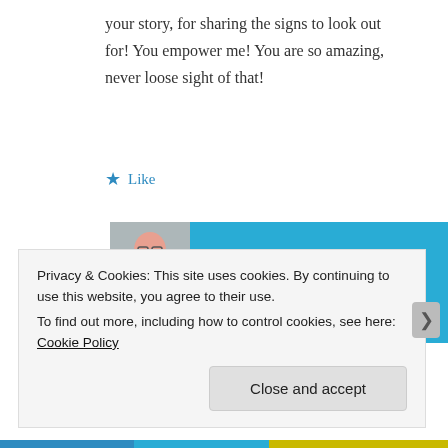your story, for sharing the signs to look out for! You empower me! You are so amazing, never loose sight of that!
★ Like
LISA POMERANTZ
NOVEMBER 22, 2018 AT 8:55 AM | REPLY
Mac, I am so sad for your suffering and I
Privacy & Cookies: This site uses cookies. By continuing to use this website, you agree to their use.
To find out more, including how to control cookies, see here: Cookie Policy
Close and accept